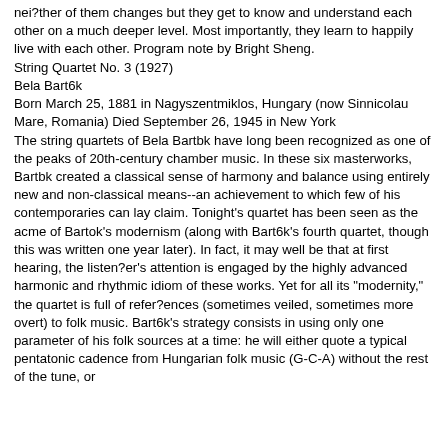nei?ther of them changes but they get to know and understand each other on a much deeper level. Most importantly, they learn to happily live with each other. Program note by Bright Sheng. String Quartet No. 3 (1927) Bela Bart6k Born March 25, 1881 in Nagyszentmiklos, Hungary (now Sinnicolau Mare, Romania) Died September 26, 1945 in New York The string quartets of Bela Bartbk have long been recognized as one of the peaks of 20th-century chamber music. In these six masterworks, Bartbk created a classical sense of harmony and balance using entirely new and non-classical means--an achievement to which few of his contemporaries can lay claim. Tonight's quartet has been seen as the acme of Bartok's modernism (along with Bart6k's fourth quartet, though this was written one year later). In fact, it may well be that at first hearing, the listen?er's attention is engaged by the highly advanced harmonic and rhythmic idiom of these works. Yet for all its "modernity," the quartet is full of refer?ences (sometimes veiled, sometimes more overt) to folk music. Bart6k's strategy consists in using only one parameter of his folk sources at a time: he will either quote a typical pentatonic cadence from Hungarian folk music (G-C-A) without the rest of the tune, or